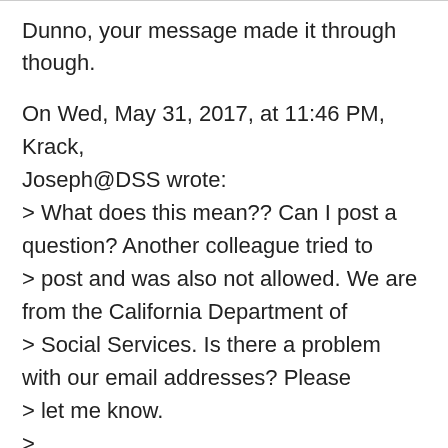Dunno, your message made it through though.
On Wed, May 31, 2017, at 11:46 PM, Krack, Joseph@DSS wrote:
> What does this mean?? Can I post a question? Another colleague tried to
> post and was also not allowed. We are from the California Department of
> Social Services. Is there a problem with our email addresses? Please
> let me know.
>
> Thanks,
>
> Joe
>
> -- Original Message